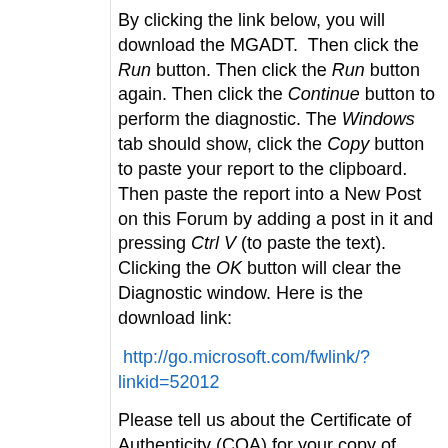By clicking the link below, you will download the MGADT.  Then click the Run button. Then click the Run button again. Then click the Continue button to perform the diagnostic. The Windows tab should show, click the Copy button to paste your report to the clipboard.  Then paste the report into a New Post on this Forum by adding a post in it and pressing Ctrl V (to paste the text). Clicking the OK button will clear the Diagnostic window. Here is the download link:
http://go.microsoft.com/fwlink/?linkid=52012
Please tell us about the Certificate of Authenticity (COA) for your copy of Windows Vista.
1. What edition/version of Windows XP is titled?